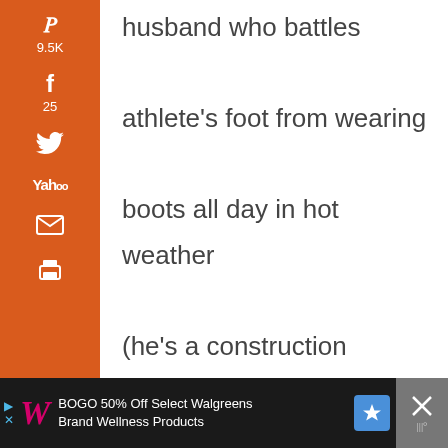[Figure (screenshot): Orange social sharing sidebar with Pinterest (9.5K), Facebook (25), Twitter, Yahoo, Email, and Print icons]
husband who battles athlete's foot from wearing boots all day in hot weather (he's a construction superintendent). Thank you!
Reply
9.5K SHARES
[Figure (screenshot): Advertisement bar: BOGO 50% Off Select Walgreens Brand Wellness Products with Walgreens logo]